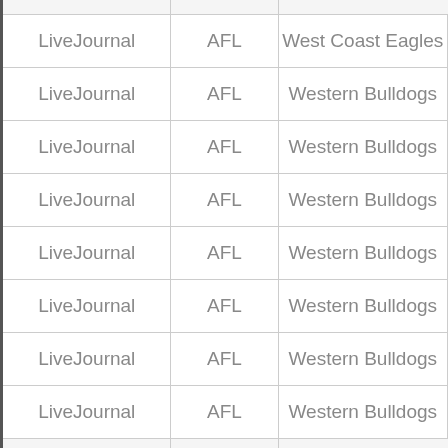| LiveJournal | AFL | West Coast Eagles |
| LiveJournal | AFL | Western Bulldogs |
| LiveJournal | AFL | Western Bulldogs |
| LiveJournal | AFL | Western Bulldogs |
| LiveJournal | AFL | Western Bulldogs |
| LiveJournal | AFL | Western Bulldogs |
| LiveJournal | AFL | Western Bulldogs |
| LiveJournal | AFL | Western Bulldogs |